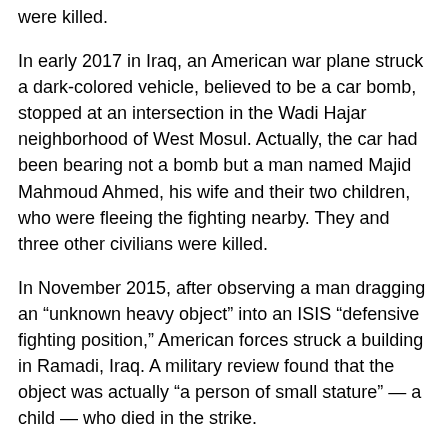were killed.
In early 2017 in Iraq, an American war plane struck a dark-colored vehicle, believed to be a car bomb, stopped at an intersection in the Wadi Hajar neighborhood of West Mosul. Actually, the car had been bearing not a bomb but a man named Majid Mahmoud Ahmed, his wife and their two children, who were fleeing the fighting nearby. They and three other civilians were killed.
In November 2015, after observing a man dragging an “unknown heavy object” into an ISIS “defensive fighting position,” American forces struck a building in Ramadi, Iraq. A military review found that the object was actually “a person of small stature” — a child — who died in the strike.
None of these deadly failures resulted in a finding of wrongdoing.
These cases are drawn from a hidden Pentagon archive of the American air war in the Middle East since 2014.